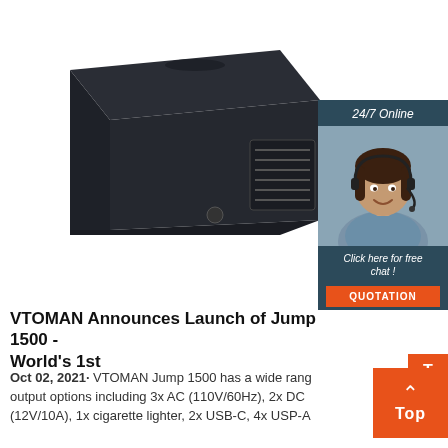[Figure (photo): Black rectangular electronic device (VTOMAN Jump 1500 power station) shown at a three-quarter angle, with a ventilation panel visible on the right side. In the upper right corner is a chat widget showing a woman with a headset, labeled '24/7 Online', with text 'Click here for free chat!' and an orange 'QUOTATION' button.]
VTOMAN Announces Launch of Jump 1500 - World's 1st
Oct 02, 2021· VTOMAN Jump 1500 has a wide range output options including 3x AC (110V/60Hz), 2x DC (12V/10A), 1x cigarette lighter, 2x USB-C, 4x USP-A